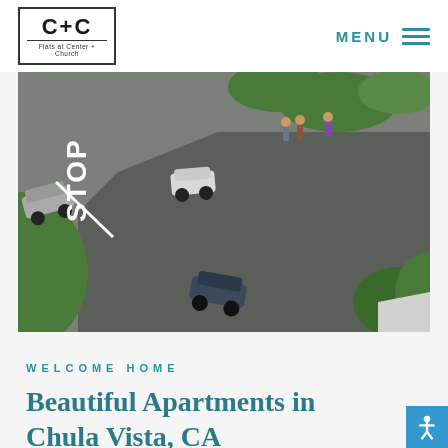[Figure (logo): C+C logo with text 'Flats at Center + Church' inside a rectangular border]
MENU
[Figure (photo): Aerial rendered view of an apartment complex parking lot with cars, pedestrians, trees, and a STOP sign painted on the road]
WELCOME HOME
Beautiful Apartments in Chula Vista, CA